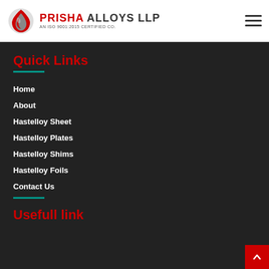PRISHA ALLOYS LLP AN ISO 9001:2015 CERTIFIED CO.
Quick Links
Home
About
Hastelloy Sheet
Hastelloy Plates
Hastelloy Shims
Hastelloy Foils
Contact Us
Usefull link